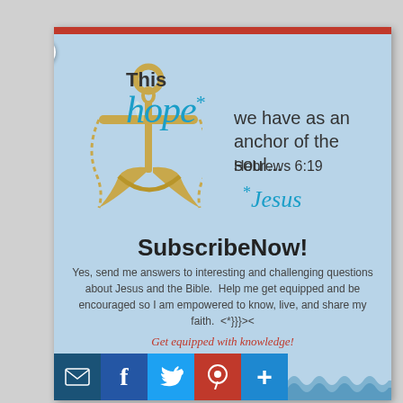[Figure (illustration): Blue popup card with orange top bar, close X button, golden anchor illustration, religious quote about hope from Hebrews 6:19, SubscribeNow call to action, taglines in red italic, and social sharing buttons at bottom]
SubscribeNow!
Yes, send me answers to interesting and challenging questions about Jesus and the Bible. Help me get equipped and be encouraged so I am empowered to know, live, and share my faith. <*}}}><
Get equipped with knowledge!
Be encouraged in hope!
Live empowered with love!